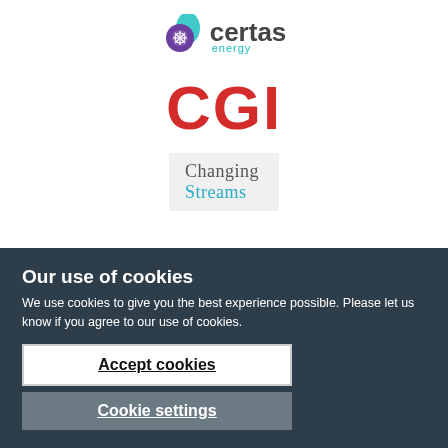[Figure (logo): Certas Energy logo — purple and teal circular icon with snowflake/gear motif, followed by 'certas' in dark grey bold text and 'energy' in teal small text below]
[Figure (logo): CGI logo in large bold red letters]
[Figure (logo): Changing Streams logo — 'Changing' in grey serif text, 'Streams' in teal serif text, on light grey background]
Our use of cookies
We use cookies to give you the best experience possible. Please let us know if you agree to our use of cookies.
Accept cookies
Cookie settings